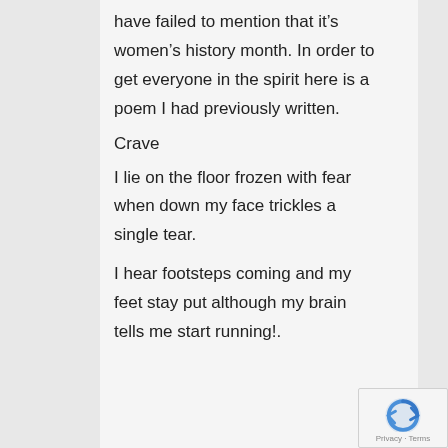have failed to mention that it's women's history month. In order to get everyone in the spirit here is a poem I had previously written.
Crave
I lie on the floor frozen with fear when down my face trickles a single tear.
I hear footsteps coming and my feet stay put although my brain tells me start running!.